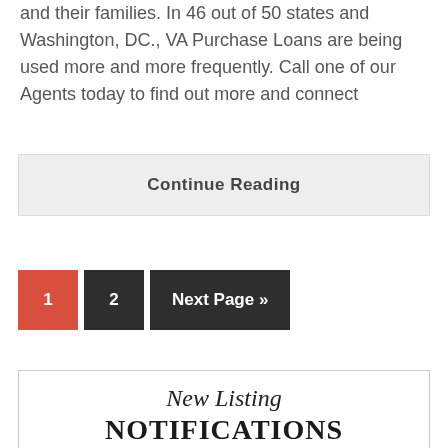and their families. In 46 out of 50 states and Washington, DC., VA Purchase Loans are being used more and more frequently.  Call one of our Agents today to find out more and connect
Continue Reading
1
2
Next Page »
New Listing NOTIFICATIONS
Email Alerts for New Homes